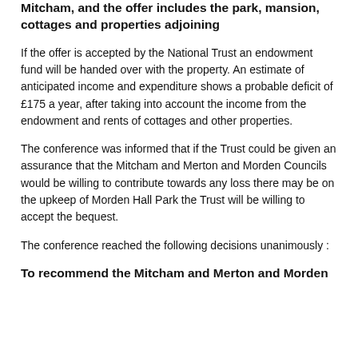Mitcham, and the offer includes the park, mansion, cottages and properties adjoining
If the offer is accepted by the National Trust an endowment fund will be handed over with the property. An estimate of anticipated income and expenditure shows a probable deficit of £175 a year, after taking into account the income from the endowment and rents of cottages and other properties.
The conference was informed that if the Trust could be given an assurance that the Mitcham and Merton and Morden Councils would be willing to contribute towards any loss there may be on the upkeep of Morden Hall Park the Trust will be willing to accept the bequest.
The conference reached the following decisions unanimously :
To recommend the Mitcham and Merton and Morden